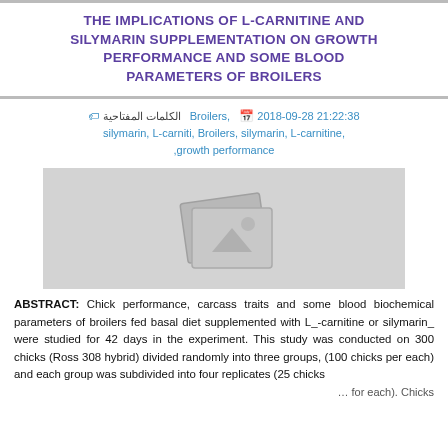THE IMPLICATIONS OF L-CARNITINE AND SILYMARIN SUPPLEMENTATION ON GROWTH PERFORMANCE AND SOME BLOOD PARAMETERS OF BROILERS
2018-09-28 21:22:38  الكلمات المفتاحية  Broilers, silymarin, L-carniti, Broilers, silymarin, L-carnitine, growth performance,
[Figure (photo): Placeholder image with a white photo icon on a grey background]
ABSTRACT: Chick performance, carcass traits and some blood biochemical parameters of broilers fed basal diet supplemented with L_-carnitine or silymarin_ were studied for 42 days in the experiment. This study was conducted on 300 chicks (Ross 308 hybrid) divided randomly into three groups, (100 chicks per each) and each group was subdivided into four replicates (25 chicks ... for each). Chicks